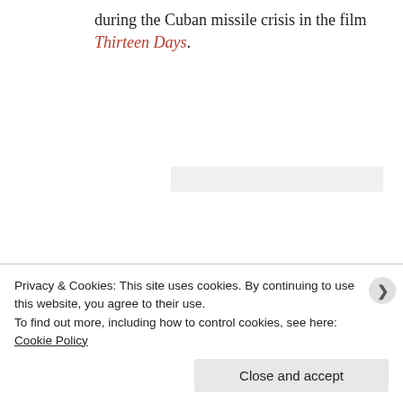during the Cuban missile crisis in the film Thirteen Days.
“That ‘elites’ try to make the worst off in society think that ‘elite’ goals are their own, when they are clearly against their best interests, is a well established theory with much truth to it.”
Privacy & Cookies: This site uses cookies. By continuing to use this website, you agree to their use.
To find out more, including how to control cookies, see here: Cookie Policy
Close and accept